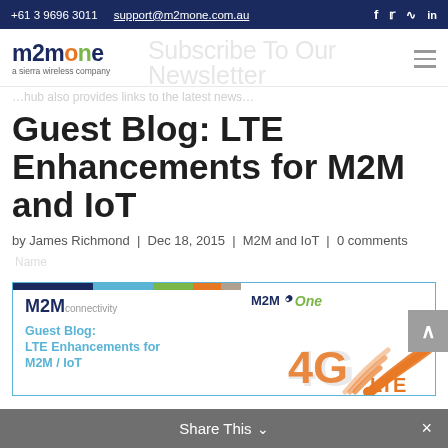+61 3 9696 3011  support@m2mone.com.au
[Figure (logo): m2mone logo - a sierra wireless company, with faded 'Subscribe To Our Newsletter' watermark text and hamburger menu icon]
Guest Blog: LTE Enhancements for M2M and IoT
by James Richmond | Dec 18, 2015 | M2M and IoT | 0 comments
[Figure (illustration): Article featured image box with border: M2M Connectivity logo on left, Guest Blog: LTE Enhancements for M2M / IoT text in blue, m2mOne logo on right, orange 4G LTE signal graphic]
Share This